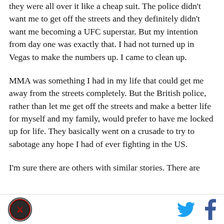they were all over it like a cheap suit. The police didn't want me to get off the streets and they definitely didn't want me becoming a UFC superstar. But my intention from day one was exactly that. I had not turned up in Vegas to make the numbers up. I came to clean up.
MMA was something I had in my life that could get me away from the streets completely. But the British police, rather than let me get off the streets and make a better life for myself and my family, would prefer to have me locked up for life. They basically went on a crusade to try to sabotage any hope I had of ever fighting in the US.
I'm sure there are others with similar stories. There are